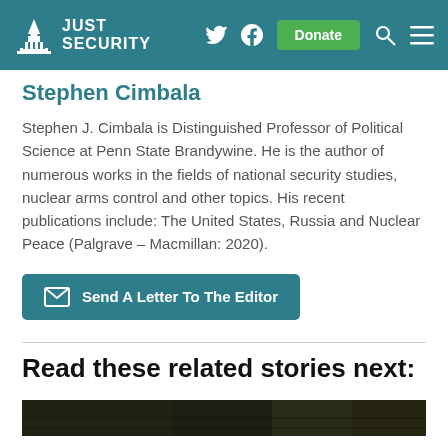Just Security
Stephen Cimbala
Stephen J. Cimbala is Distinguished Professor of Political Science at Penn State Brandywine. He is the author of numerous works in the fields of national security studies, nuclear arms control and other topics. His recent publications include: The United States, Russia and Nuclear Peace (Palgrave – Macmillan: 2020).
Send A Letter To The Editor
Read these related stories next:
[Figure (photo): Thumbnail image strip at bottom of page]